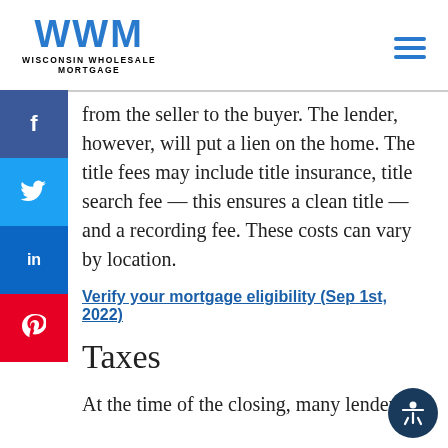WWM WISCONSIN WHOLESALE MORTGAGE
from the seller to the buyer. The lender, however, will put a lien on the home. The title fees may include title insurance, title search fee — this ensures a clean title — and a recording fee. These costs can vary by location.
Verify your mortgage eligibility (Sep 1st, 2022)
Taxes
At the time of the closing, many lenders